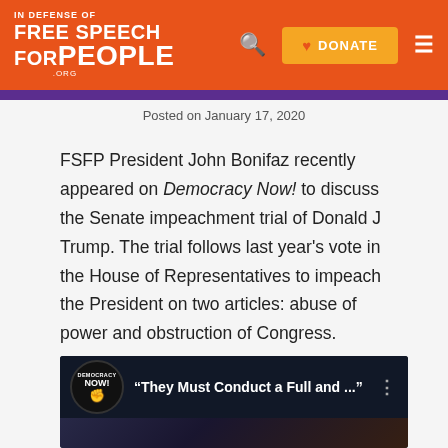FREE SPEECH FOR PEOPLE .ORG — [Search] [DONATE] [Menu]
Posted on January 17, 2020
FSFP President John Bonifaz recently appeared on Democracy Now! to discuss the Senate impeachment trial of Donald J Trump. The trial follows last year's vote in the House of Representatives to impeach the President on two articles: abuse of power and obstruction of Congress.
[Figure (screenshot): Democracy Now! video thumbnail showing the title 'They Must Conduct a Full and ...' with Democracy Now! logo on the left, and a three-dot menu icon on the right, over a dark background with people visible below.]